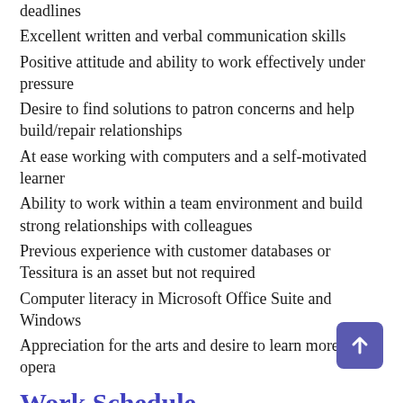deadlines
Excellent written and verbal communication skills
Positive attitude and ability to work effectively under pressure
Desire to find solutions to patron concerns and help build/repair relationships
At ease working with computers and a self-motivated learner
Ability to work within a team environment and build strong relationships with colleagues
Previous experience with customer databases or Tessitura is an asset but not required
Computer literacy in Microsoft Office Suite and Windows
Appreciation for the arts and desire to learn more about opera
Work Schedule
Work week generally consists of 40 hours per week, Monday-Friday, 9am-5pm.